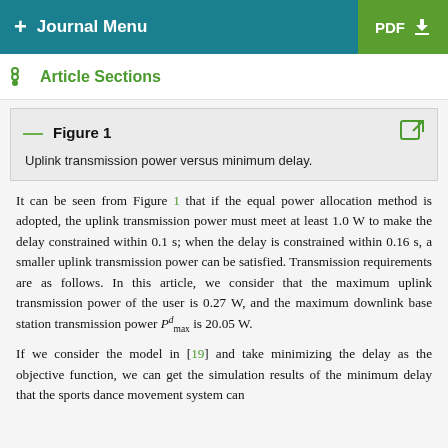+ Journal Menu | PDF
Article Sections
Figure 1
Uplink transmission power versus minimum delay.
It can be seen from Figure 1 that if the equal power allocation method is adopted, the uplink transmission power must meet at least 1.0 W to make the delay constrained within 0.1 s; when the delay is constrained within 0.16 s, a smaller uplink transmission power can be satisfied. Transmission requirements are as follows. In this article, we consider that the maximum uplink transmission power of the user is 0.27 W, and the maximum downlink base station transmission power P^d_max is 20.05 W.
If we consider the model in [19] and take minimizing the delay as the objective function, we can get the simulation results of the minimum delay that the sports dance movement system can